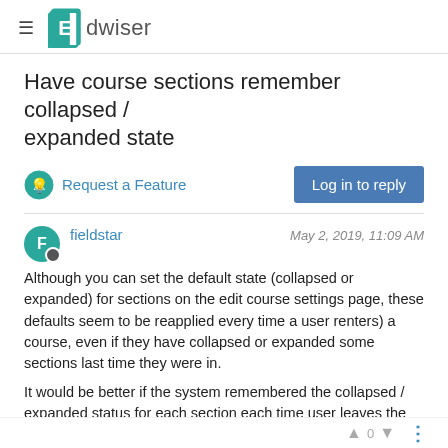Edwiser
Have course sections remember collapsed / expanded state
Request a Feature
Log in to reply
fieldstar   May 2, 2019, 11:09 AM
Although you can set the default state (collapsed or expanded) for sections on the edit course settings page, these defaults seem to be reapplied every time a user renters) a course, even if they have collapsed or expanded some sections last time they were in.
It would be better if the system remembered the collapsed / expanded status for each section each time user leaves the course main page and returns them to the last state when they return. (For info, the Moodle plugin 'format_topcoll' does do this).